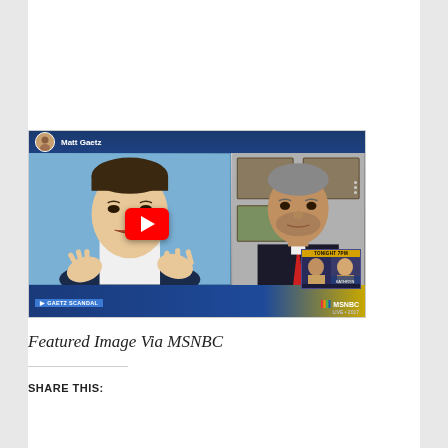[Figure (screenshot): YouTube video thumbnail showing an MSNBC segment about Matt Gaetz scandal. Left side shows a man in white shirt gesturing with both hands. Right side shows a man in dark suit with red tie. A large red YouTube play button is overlaid in the center. Bottom ticker reads '> GAETZ SCANDAL'. MSNBC logo and 'TONIGHT 7PM' graphic visible. 'LIVE • 2017' shown at bottom right.]
Featured Image Via MSNBC
SHARE THIS: